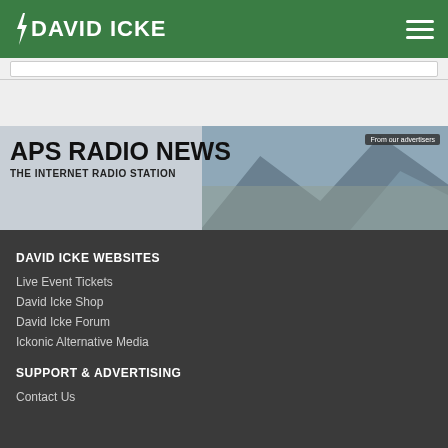DAVID ICKE
[Figure (screenshot): APS Radio News advertisement banner - The Internet Radio Station with mountain background]
DAVID ICKE WEBSITES
Live Event Tickets
David Icke Shop
David Icke Forum
Ickonic Alternative Media
SUPPORT & ADVERTISING
Contact Us